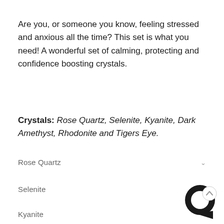Are you, or someone you know, feeling stressed and anxious all the time? This set is what you need! A wonderful set of calming, protecting and confidence boosting crystals.
Crystals: Rose Quartz, Selenite, Kyanite, Dark Amethyst, Rhodonite and Tigers Eye.
Rose Quartz
Selenite
Kyanite